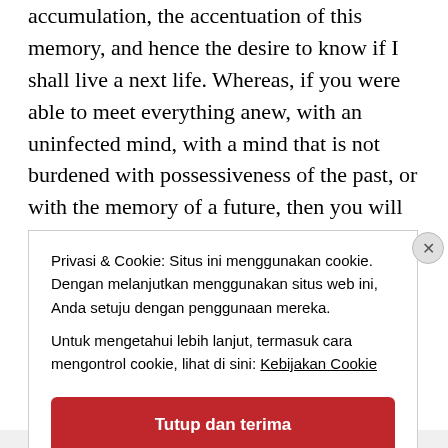accumulation, the accentuation of this memory, and hence the desire to know if I shall live a next life. Whereas, if you were able to meet everything anew, with an uninfected mind, with a mind that is not burdened with possessiveness of the past, or with the memory of a future, then you will see that there is no such thing as death; that there is no fear. Then life is con- tinually becoming an ecstasy, not a fearful, horrible struggle; but that demands great alertness,
Privasi & Cookie: Situs ini menggunakan cookie. Dengan melanjutkan menggunakan situs web ini, Anda setuju dengan penggunaan mereka.
Untuk mengetahui lebih lanjut, termasuk cara mengontrol cookie, lihat di sini: Kebijakan Cookie
Tutup dan terima